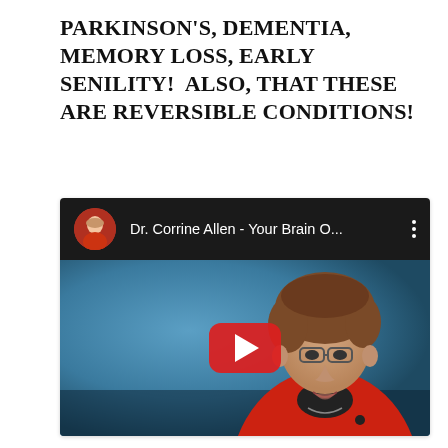PARKINSON'S, DEMENTIA, MEMORY LOSS, EARLY SENILITY!  ALSO, THAT THESE ARE REVERSIBLE CONDITIONS!
[Figure (screenshot): Embedded YouTube video thumbnail showing Dr. Corrine Allen speaking at a podium. The video player shows a black top bar with a circular avatar photo, the channel/video title 'Dr. Corrine Allen - Your Brain O...' and a vertical three-dot menu icon. The thumbnail shows a woman with short curly brown hair, wearing glasses and a red jacket, speaking at an event against a blue background. A red YouTube play button is centered on the thumbnail.]